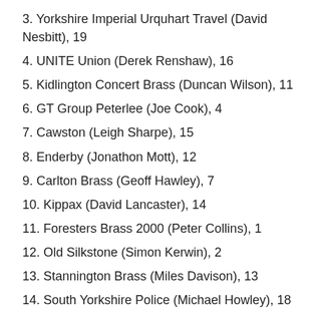3. Yorkshire Imperial Urquhart Travel (David Nesbitt), 19
4. UNITE Union (Derek Renshaw), 16
5. Kidlington Concert Brass (Duncan Wilson), 11
6. GT Group Peterlee (Joe Cook), 4
7. Cawston (Leigh Sharpe), 15
8. Enderby (Jonathon Mott), 12
9. Carlton Brass (Geoff Hawley), 7
10. Kippax (David Lancaster), 14
11. Foresters Brass 2000 (Peter Collins), 1
12. Old Silkstone (Simon Kerwin), 2
13. Stannington Brass (Miles Davison), 13
14. South Yorkshire Police (Michael Howley), 18
15. Langley (Cliff Parker), 17
16. Haydock (Mark Quinn), 21
17. Blidworth Welfare (Martin Heartfield), 9